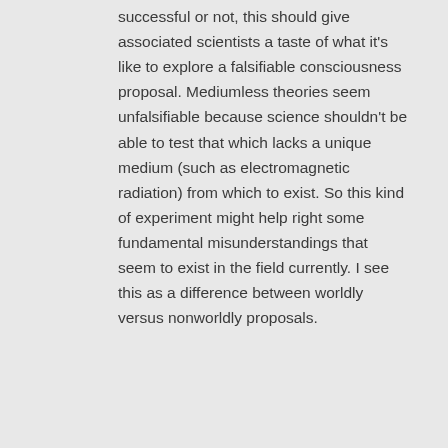successful or not, this should give associated scientists a taste of what it's like to explore a falsifiable consciousness proposal. Mediumless theories seem unfalsifiable because science shouldn't be able to test that which lacks a unique medium (such as electromagnetic radiation) from which to exist. So this kind of experiment might help right some fundamental misunderstandings that seem to exist in the field currently. I see this as a difference between worldly versus nonworldly proposals.